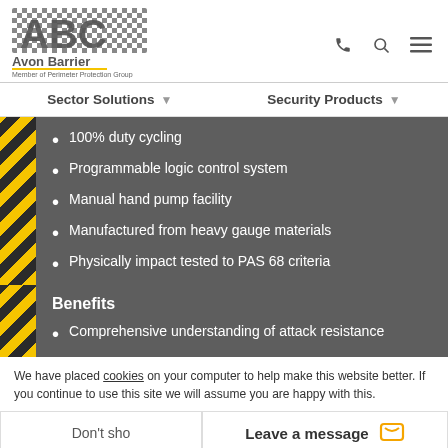[Figure (logo): ABC Avon Barrier logo — checkerboard pattern letters ABC in grey, with 'Avon Barrier' text and 'Member of Perimeter Protection Group' subtitle]
100% duty cycling
Programmable logic control system
Manual hand pump facility
Manufactured from heavy gauge materials
Physically impact tested to PAS 68 criteria
Benefits
Comprehensive understanding of attack resistance
We have placed cookies on your computer to help make this website better. If you continue to use this site we will assume you are happy with this.
Don't sho
Leave a message